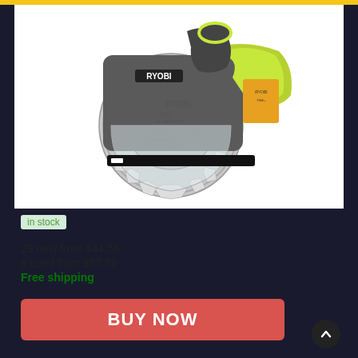[Figure (photo): RYOBI circular saw with yellow and grey body, 5-1/2 inch blade, photographed from the front on a white background]
in stock
29 new from $44.56
6 used from $37.50
Free shipping
BUY NOW